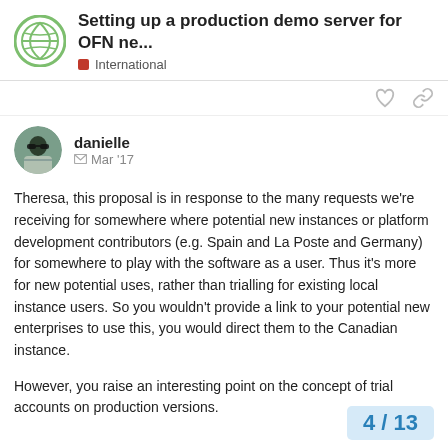Setting up a production demo server for OFN ne... — International
danielle   Mar '17

Theresa, this proposal is in response to the many requests we're receiving for somewhere where potential new instances or platform development contributors (e.g. Spain and La Poste and Germany) for somewhere to play with the software as a user. Thus it's more for new potential uses, rather than trialling for existing local instance users. So you wouldn't provide a link to your potential new enterprises to use this, you would direct them to the Canadian instance.

However, you raise an interesting point on the concept of trial accounts on production versions.
4 / 13